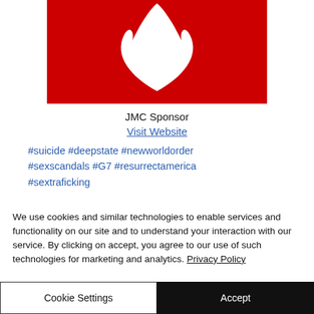[Figure (logo): Red background logo with white flame/torch design — JMC Sponsor logo]
JMC Sponsor
Visit Website
#suicide #deepstate #newworldorder #sexscandals #G7 #resurrectamerica #sextraficking
We use cookies and similar technologies to enable services and functionality on our site and to understand your interaction with our service. By clicking on accept, you agree to our use of such technologies for marketing and analytics. Privacy Policy
Cookie Settings
Accept